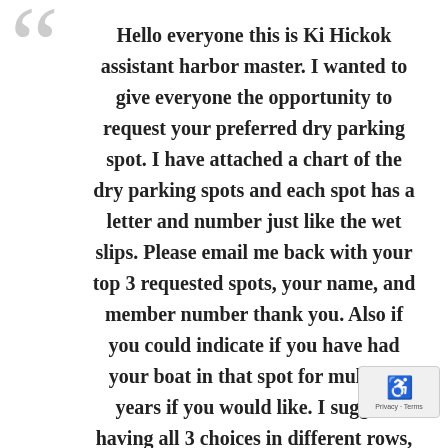Hello everyone this is Ki Hickok assistant harbor master. I wanted to give everyone the opportunity to request your preferred dry parking spot. I have attached a chart of the dry parking spots and each spot has a letter and number just like the wet slips. Please email me back with your top 3 requested spots, your name, and member number thank you. Also if you could indicate if you have had your boat in that spot for multiple years if you would like. I suggest having all 3 choices in different rows, or at least the 3rd choice in another row just to be safe. Also